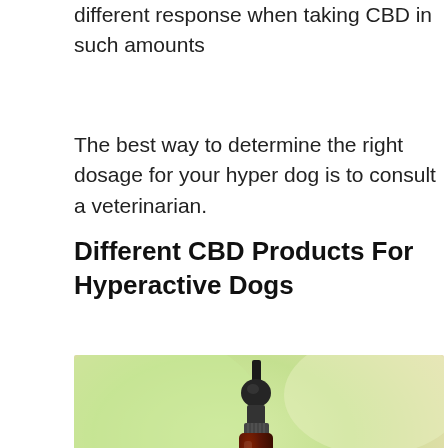different response when taking CBD in such amounts
The best way to determine the right dosage for your hyper dog is to consult a veterinarian.
Different CBD Products For Hyperactive Dogs
[Figure (photo): A dark amber glass CBD dropper bottle sitting inside a silver metal pet food bowl filled with golden brown dog kibble pieces. Background is a soft blurred green and tan color.]